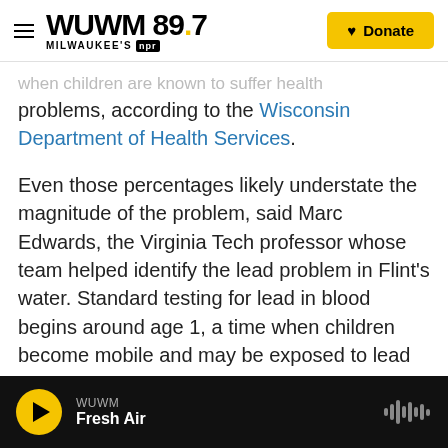WUWM 89.7 MILWAUKEE'S NPR | Donate
when children are known to suffer health problems, according to the Wisconsin Department of Health Services.
Even those percentages likely understate the magnitude of the problem, said Marc Edwards, the Virginia Tech professor whose team helped identify the lead problem in Flint’s water. Standard testing for lead in blood begins around age 1, a time when children become mobile and may be exposed to lead paint or dust — ignoring infants on formula who may be ingesting large amounts of lead-tainted tap water.
WUWM Fresh Air